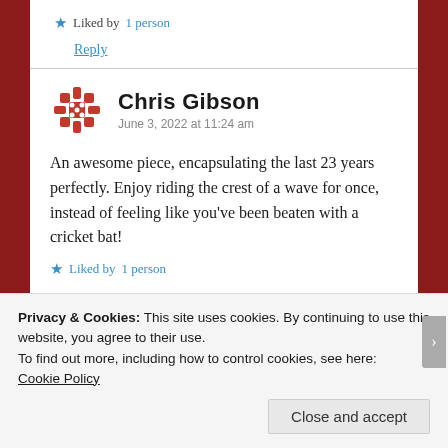★ Liked by 1 person
Reply
Chris Gibson
June 3, 2022 at 11:24 am
An awesome piece, encapsulating the last 23 years perfectly. Enjoy riding the crest of a wave for once, instead of feeling like you've been beaten with a cricket bat!
★ Liked by 1 person
Privacy & Cookies: This site uses cookies. By continuing to use this website, you agree to their use.
To find out more, including how to control cookies, see here: Cookie Policy
Close and accept